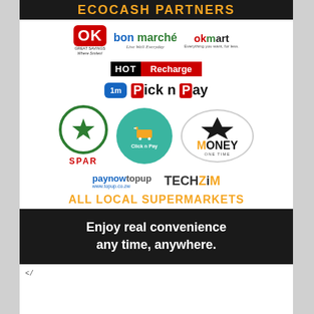ECOCASH PARTNERS
[Figure (logo): OK Great Savings logo (red), Bon Marché logo (blue/green), OKmart logo (red/green)]
[Figure (logo): HOT Recharge logo (black/red)]
[Figure (logo): Pick n Pay logo (blue/red)]
[Figure (logo): SPAR logo (green circle), Click n Pay logo (teal circle), 1 MONEY ONE TIME logo (oval)]
[Figure (logo): paynowtopup www.topup.co.zw logo, TechZim logo]
ALL LOCAL SUPERMARKETS
Enjoy real convenience any time, anywhere.
</